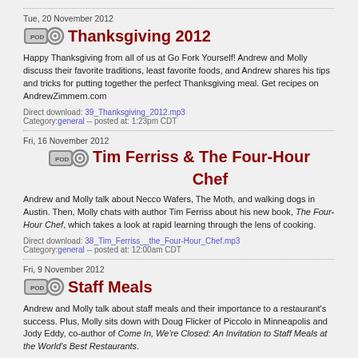Tue, 20 November 2012
Thanksgiving 2012
Happy Thanksgiving from all of us at Go Fork Yourself! Andrew and Molly discuss their favorite traditions, least favorite foods, and Andrew shares his tips and tricks for putting together the perfect Thanksgiving meal.  Get recipes on AndrewZimmern.com
Direct download: 39_Thanksgiving_2012.mp3
Category: general -- posted at: 1:23pm CDT
Fri, 16 November 2012
Tim Ferriss & The Four-Hour Chef
Andrew and Molly talk about Necco Wafers, The Moth, and walking dogs in Austin. Then, Molly chats with author Tim Ferriss about his new book, The Four-Hour Chef, which takes a look at rapid learning through the lens of cooking.
Direct download: 38_Tim_Ferriss__the_Four-Hour_Chef.mp3
Category: general -- posted at: 12:00am CDT
Fri, 9 November 2012
Staff Meals
Andrew and Molly talk about staff meals and their importance to a restaurant's success. Plus, Molly sits down with Doug Flicker of Piccolo in Minneapolis and Jody Eddy, co-author of Come In, We're Closed: An Invitation to Staff Meals at the World's Best Restaurants.
Direct download: 37_Staff_Meals.mp3
Category: general -- posted at: 12:00am CDT